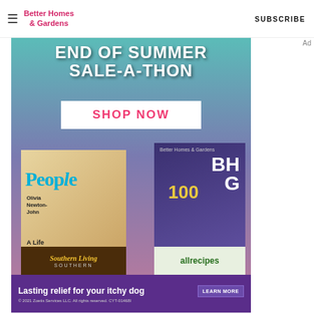Better Homes & Gardens  SUBSCRIBE
[Figure (illustration): End of Summer Sale-a-Thon promotional banner with magazine covers (People, BHG, Southern Living, allrecipes) and 'SHOP NOW' button on teal-to-purple gradient background]
Ad
[Figure (illustration): Purple advertisement banner: 'Lasting relief for your itchy dog  LEARN MORE  © 2021 Zoetis Services LLC. All rights reserved. CYT-01468I']